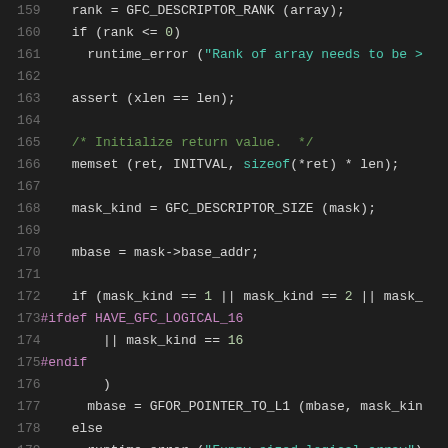[Figure (screenshot): Source code listing lines 159-180 of a C program, dark theme editor, monospace font. Code shows array rank checking, memset initialization, mask_kind assignment, and conditional logic for GFC logical array types.]